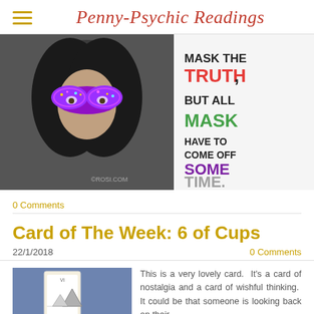Penny-Psychic Readings
[Figure (photo): Black and white photo of a woman wearing a purple masquerade mask, alongside text reading 'MASK THE TRUTH, BUT ALL MASK HAVE TO COME OFF SOME TIME.']
0 Comments
Card of The Week: 6 of Cups
22/1/2018
0 Comments
[Figure (photo): Photo of tarot card (6 of Cups) on a blue fabric background]
This is a very lovely card.  It's a card of nostalgia and a card of wishful thinking.  It could be that someone is looking back on their